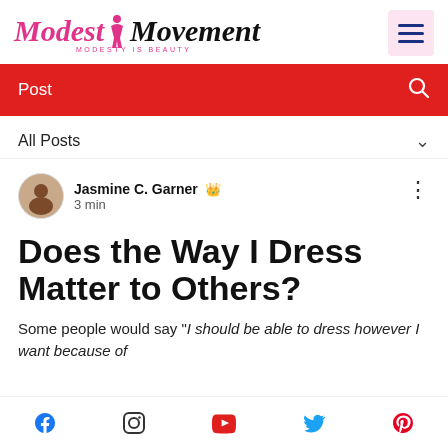Modest Movement — MODESTY IS BEAUTY
Post
All Posts
Jasmine C. Garner 👑 3 min
Does the Way I Dress Matter to Others?
Some people would say "I should be able to dress however I want because of
Social icons: Facebook, Instagram, YouTube, Twitter, Pinterest